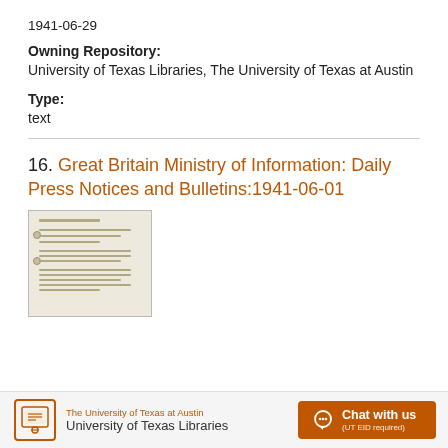1941-06-29
Owning Repository:
University of Texas Libraries, The University of Texas at Austin
Type:
text
16. Great Britain Ministry of Information: Daily Press Notices and Bulletins:1941-06-01
[Figure (photo): Thumbnail image of a document page with typed text and two punch holes on the left side]
The University of Texas at Austin
University of Texas Libraries
Chat with us (UT EID required)